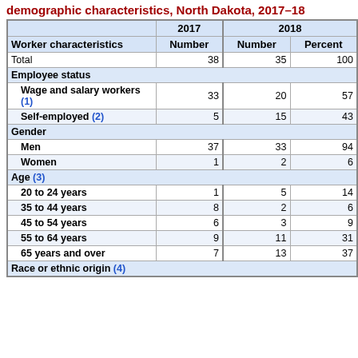demographic characteristics, North Dakota, 2017–18
| Worker characteristics | 2017 Number | 2018 Number | 2018 Percent |
| --- | --- | --- | --- |
| Total | 38 | 35 | 100 |
| Employee status |  |  |  |
| Wage and salary workers (1) | 33 | 20 | 57 |
| Self-employed (2) | 5 | 15 | 43 |
| Gender |  |  |  |
| Men | 37 | 33 | 94 |
| Women | 1 | 2 | 6 |
| Age (3) |  |  |  |
| 20 to 24 years | 1 | 5 | 14 |
| 35 to 44 years | 8 | 2 | 6 |
| 45 to 54 years | 6 | 3 | 9 |
| 55 to 64 years | 9 | 11 | 31 |
| 65 years and over | 7 | 13 | 37 |
| Race or ethnic origin (4) |  |  |  |